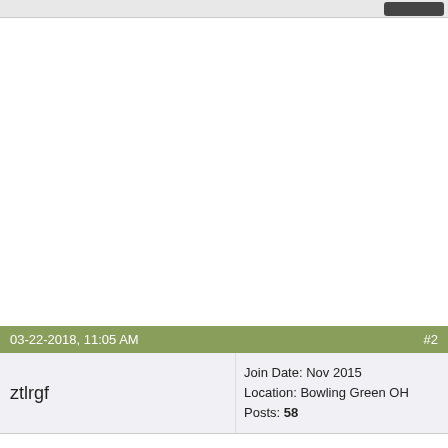[Figure (other): Advertisement or blank white area]
03-22-2018, 11:05 AM   #2
ztlrgf   Join Date: Nov 2015  Location: Bowling Green OH  Posts: 58
Buying a RV is very subjective. Find a floor plan you like, decide gas or diesel, do your homework and make your decision based on your